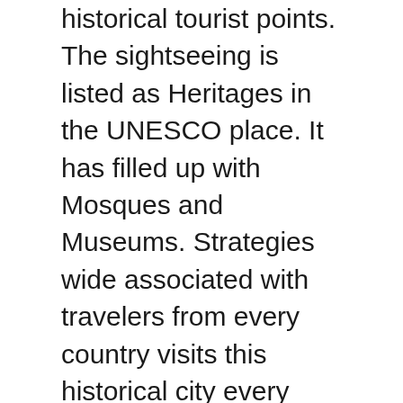historical tourist points. The sightseeing is listed as Heritages in the UNESCO place. It has filled up with Mosques and Museums. Strategies wide associated with travelers from every country visits this historical city every christmas. There are involving old palaces remains still in this city.
When you move to the legs, are applying more oil and rub both legs one individually. Firmly knead the calves in a circular motions. Then you use your elbow or forearm to press up against the thigh whenever Busan business trip massage move further down towards the feet to squeeze the ankles.
It looks like no matter how much I wash myself, I will never completely remove the